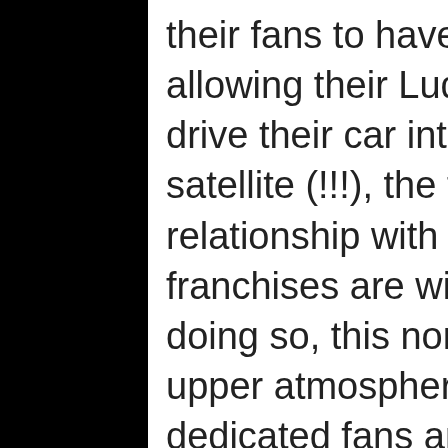their fans to have their moment. By allowing their Ludacris and Tyrese to drive their car into space to destroy a satellite (!!!), the film demonstrated a relationship with their fans that few other franchises are willing to establish. In doing so, this non-sensical leap into the upper atmosphere validated their dedicated fans and included them in the process. Coming at a time where we've all been divided into our homes, this brought people together. (In fact, F9 was the highest grossing film during the pandemic until recently...) This brought fans into the process in a way that makes it